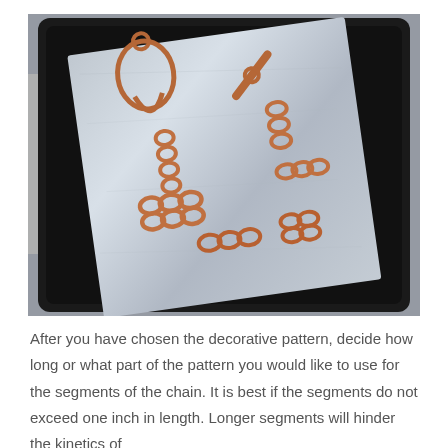[Figure (photo): A photograph of copper jewelry pieces including chain segments, pendants, and toggle clasp components laid out on a silver metal plate inside a black frame/bezel, resting against a gray wall.]
After you have chosen the decorative pattern, decide how long or what part of the pattern you would like to use for the segments of the chain. It is best if the segments do not exceed one inch in length. Longer segments will hinder the kinetics of